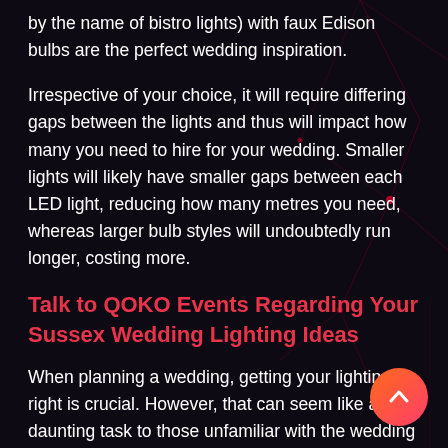by the name of bistro lights) with faux Edison bulbs are the perfect wedding inspiration.
Irrespective of your choice, it will require differing gaps between the lights and thus will impact how many you need to hire for your wedding. Smaller lights will likely have smaller gaps between each LED light, reducing how many metres you need, whereas larger bulb styles will undoubtedly run longer, costing more.
Talk to QOKO Events Regarding Your Sussex Wedding Lighting Ideas
When planning a wedding, getting your lighting right is crucial. However, that can seem like a daunting task to those unfamiliar with the wedding event industry. With string lights being such a popular choice, it's vital to choose a length appropriate for your needs so that you don't feel let down or disappointed on one of the most